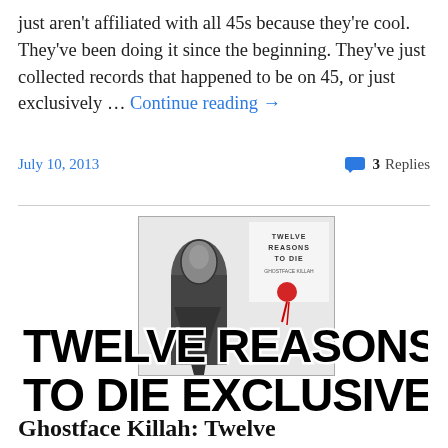just aren't affiliated with all 45s because they're cool. They've been doing it since the beginning. They've just collected records that happened to be on 45, or just exclusively … Continue reading →
July 10, 2013
💬 3 Replies
[Figure (illustration): Album cover and promotional graphic for 'Twelve Reasons to Die' by Ghostface Killah, showing a masked figure in black and white with a red blood splatter, overlaid with large bold text reading 'TWELVE REASONS TO DIE EXCLUSIVE']
Ghostface Killah: Twelve